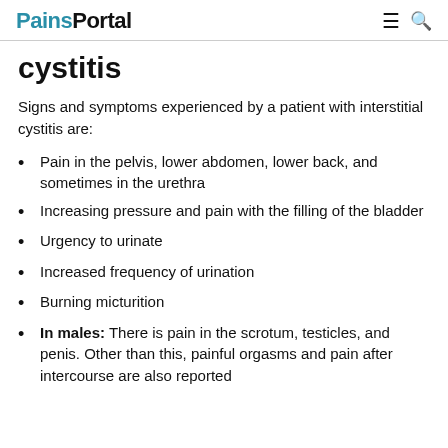PainsPortal
cystitis
Signs and symptoms experienced by a patient with interstitial cystitis are:
Pain in the pelvis, lower abdomen, lower back, and sometimes in the urethra
Increasing pressure and pain with the filling of the bladder
Urgency to urinate
Increased frequency of urination
Burning micturition
In males: There is pain in the scrotum, testicles, and penis. Other than this, painful orgasms and pain after intercourse are also reported